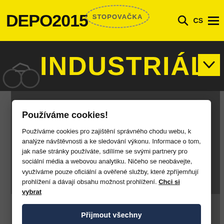DEPO2015 · STOPOVAČKA · CS
[Figure (screenshot): Background webpage with industrial-themed dark image and yellow INDUSTRIÁLNÍ text]
Používáme cookies!
Používáme cookies pro zajištění správného chodu webu, k analýze návštěvnosti a ke sledování výkonu. Informace o tom, jak naše stránky používáte, sdílíme se svými partnery pro sociální média a webovou analytiku. Ničeho se neobávejte, využíváme pouze oficiální a ověřené služby, které zpříjemňují prohlížení a dávají obsahu možnost prohlížení. Chci si vybrat
Přijmout všechny
Zamítnout všechny